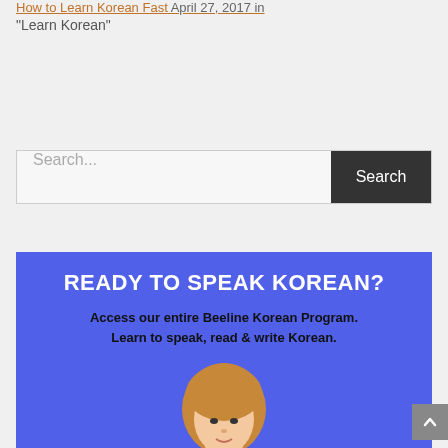How to Learn Korean Fast April 27, 2017 in
“Learn Korean”
[Figure (other): Search bar with text input placeholder 'Search...' and a dark 'Search' button]
[Figure (infographic): Blue banner with white bold text 'READY TO SPEAK KOREAN?' and subtitle 'Access our entire Beeline Korean Program. Learn to speak, read & write Korean.' with a person's head illustration at the bottom]